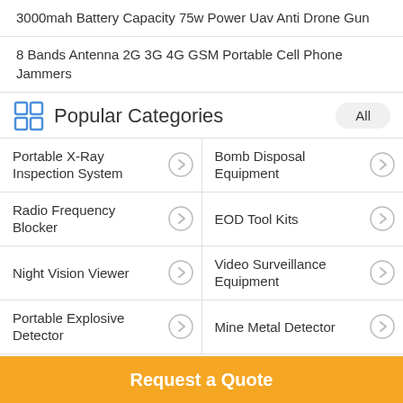3000mah Battery Capacity 75w Power Uav Anti Drone Gun
8 Bands Antenna 2G 3G 4G GSM Portable Cell Phone Jammers
Popular Categories
Portable X-Ray Inspection System
Bomb Disposal Equipment
Radio Frequency Blocker
EOD Tool Kits
Night Vision Viewer
Video Surveillance Equipment
Portable Explosive Detector
Mine Metal Detector
Request a Quote